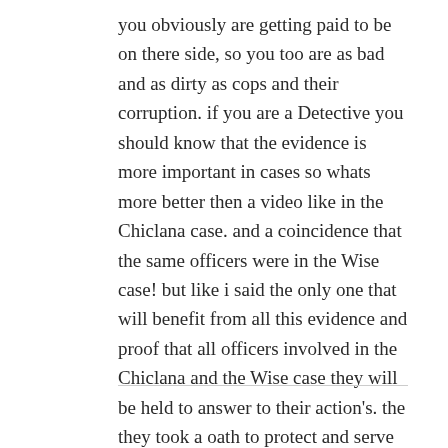you obviously are getting paid to be on there side, so you too are as bad and as dirty as cops and their corruption. if you are a Detective you should know that the evidence is more important in cases so whats more better then a video like in the Chiclana case. and a coincidence that the same officers were in the Wise case! but like i said the only one that will benefit from all this evidence and proof that all officers involved in the Chiclana and the Wise case they will be held to answer to their action's. the they took a oath to protect and serve not beat and lie!